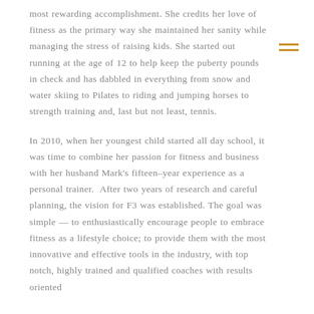most rewarding accomplishment. She credits her love of fitness as the primary way she maintained her sanity while managing the stress of raising kids. She started out running at the age of 12 to help keep the puberty pounds in check and has dabbled in everything from snow and water skiing to Pilates to riding and jumping horses to strength training and, last but not least, tennis.
In 2010, when her youngest child started all day school, it was time to combine her passion for fitness and business with her husband Mark's fifteen–year experience as a personal trainer. After two years of research and careful planning, the vision for F3 was established. The goal was simple — to enthusiastically encourage people to embrace fitness as a lifestyle choice; to provide them with the most innovative and effective tools in the industry, with top notch, highly trained and qualified coaches with results oriented